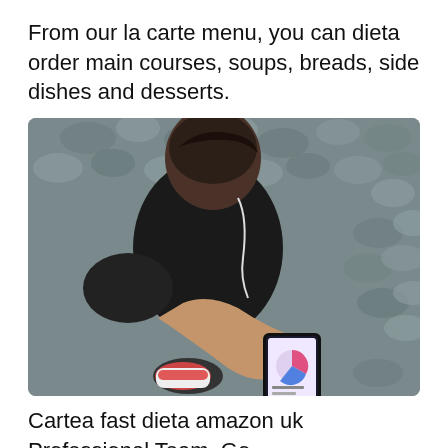From our la carte menu, you can dieta order main courses, soups, breads, side dishes and desserts.
[Figure (photo): Overhead view of a person in black athletic wear with earphones, looking at a smartphone showing a fitness/diet app, standing on a cobblestone surface.]
Cartea fast dieta amazon uk Professional Team. Go